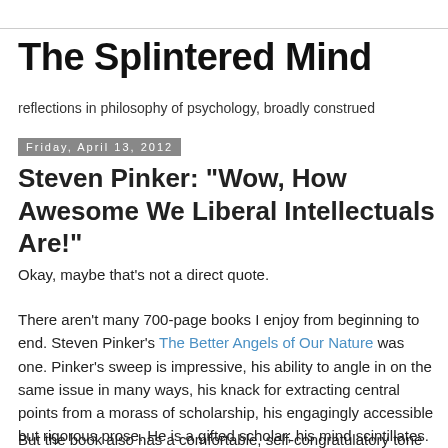The Splintered Mind
reflections in philosophy of psychology, broadly construed
Friday, April 13, 2012
Steven Pinker: "Wow, How Awesome We Liberal Intellectuals Are!"
Okay, maybe that’s not a direct quote.
There aren’t many 700-page books I enjoy from beginning to end. Steven Pinker’s The Better Angels of Our Nature was one. Pinker’s sweep is impressive, his ability to angle in on the same issue in many ways, his knack for extracting central points from a morass of scholarship, his engagingly accessible but rigorous prose. He is a gifted scholar; his mind scintillates.
But the book also has a comfortable, self-congratulatory tone